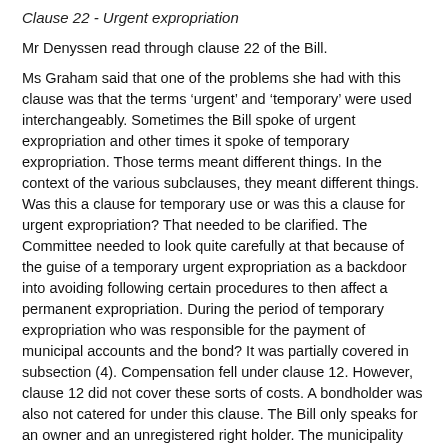Clause 22 - Urgent expropriation
Mr Denyssen read through clause 22 of the Bill.
Ms Graham said that one of the problems she had with this clause was that the terms ‘urgent’ and ‘temporary’ were used interchangeably. Sometimes the Bill spoke of urgent expropriation and other times it spoke of temporary expropriation. Those terms meant different things. In the context of the various subclauses, they meant different things. Was this a clause for temporary use or was this a clause for urgent expropriation? That needed to be clarified. The Committee needed to look quite carefully at that because of the guise of a temporary urgent expropriation as a backdoor into avoiding following certain procedures to then affect a permanent expropriation. During the period of temporary expropriation who was responsible for the payment of municipal accounts and the bond? It was partially covered in subsection (4). Compensation fell under clause 12. However, clause 12 did not cover these sorts of costs. A bondholder was also not catered for under this clause. The Bill only speaks for an owner and an unregistered right holder. The municipality was not covered under clause 12 (2). Those costs were not covered under any section within the Act in terms of ongoing municipal